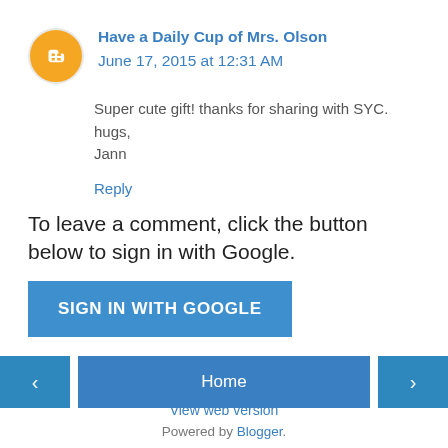Have a Daily Cup of Mrs. Olson  June 17, 2015 at 12:31 AM
Super cute gift! thanks for sharing with SYC.
hugs,
Jann
Reply
To leave a comment, click the button below to sign in with Google.
[Figure (other): SIGN IN WITH GOOGLE button]
[Figure (other): Navigation: left arrow, Home, right arrow buttons]
View web version
Powered by Blogger.